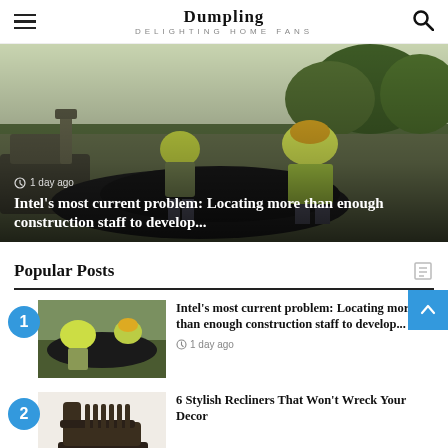Dumpling — DELIGHTING HOME FANS
[Figure (photo): Construction workers in yellow vests and hard hats working outdoors with machinery. Overlay text: '1 day ago' and headline 'Intel's most current problem: Locating more than enough construction staff to develop...']
Popular Posts
1 — Intel's most current problem: Locating more than enough construction staff to develop... — 1 day ago
2 — 6 Stylish Recliners That Won't Wreck Your Decor